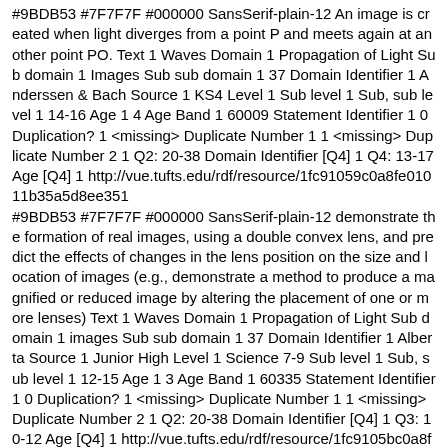#9BDB53 #7F7F7F #000000 SansSerif-plain-12 An image is created when light diverges from a point P and meets again at another point PO. Text 1 Waves Domain 1 Propagation of Light Sub domain 1 Images Sub sub domain 1 37 Domain Identifier 1 Anderssen & Bach Source 1 KS4 Level 1 Sub level 1 Sub, sub level 1 14-16 Age 1 4 Age Band 1 60009 Statement Identifier 1 0 Duplication? 1 <missing> Duplicate Number 1 1 <missing> Duplicate Number 2 1 Q2: 20-38 Domain Identifier [Q4] 1 Q4: 13-17 Age [Q4] 1 http://vue.tufts.edu/rdf/resource/1fc91059c0a8fe01011b35a5d8ee351
#9BDB53 #7F7F7F #000000 SansSerif-plain-12 demonstrate the formation of real images, using a double convex lens, and predict the effects of changes in the lens position on the size and location of images (e.g., demonstrate a method to produce a magnified or reduced image by altering the placement of one or more lenses) Text 1 Waves Domain 1 Propagation of Light Sub domain 1 images Sub sub domain 1 37 Domain Identifier 1 Alberta Source 1 Junior High Level 1 Science 7-9 Sub level 1 Sub, sub level 1 12-15 Age 1 3 Age Band 1 60335 Statement Identifier 1 0 Duplication? 1 <missing> Duplicate Number 1 1 <missing> Duplicate Number 2 1 Q2: 20-38 Domain Identifier [Q4] 1 Q3: 10-12 Age [Q4] 1 http://vue.tufts.edu/rdf/resource/1fc9105bc0a8fe01011b35a501eade7
#9BDB53 #7F7F7F #000000 SansSerif-plain-12 The electromagnetic spectrum: From long waves, to radio waves, to light waves, to x-rays, to gamma rays; Called "electromagnetic"